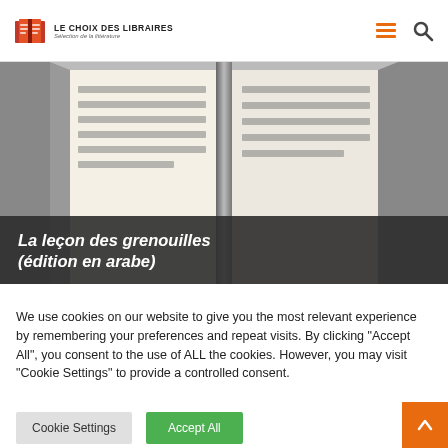[Figure (logo): Le Choix des Libraires logo with open book icon in orange/red and text LE CHOIX DES LIBRAIRES / Sélection de la littérature]
[Figure (illustration): Open book illustration showing two cream/beige pages with grey horizontal lines representing text, on a dark grey background, with title overlay]
La leçon des grenouilles (édition en arabe)
We use cookies on our website to give you the most relevant experience by remembering your preferences and repeat visits. By clicking "Accept All", you consent to the use of ALL the cookies. However, you may visit "Cookie Settings" to provide a controlled consent.